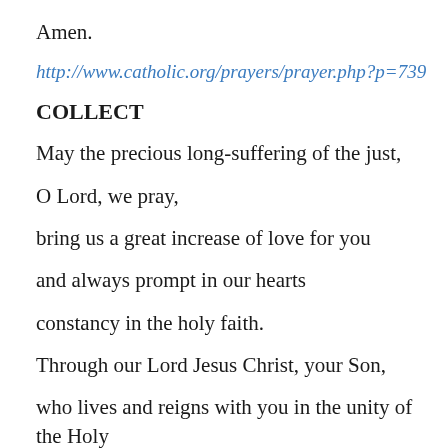Amen.
http://www.catholic.org/prayers/prayer.php?p=739
COLLECT
May the precious long-suffering of the just,
O Lord, we pray,
bring us a great increase of love for you
and always prompt in our hearts
constancy in the holy faith.
Through our Lord Jesus Christ, your Son,
who lives and reigns with you in the unity of the Holy